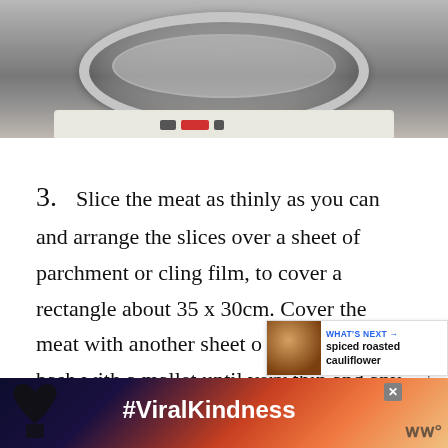[Figure (photo): Top-down view of a large pot or pan on an induction stove, with steam visible inside, on a granite countertop]
3.  Slice the meat as thinly as you can and arrange the slices over a sheet of parchment or cling film, to cover a rectangle about 35 x 30cm. Cover the meat with another sheet of cling film and bash with a mallet until very thin and any gaps between the meat have disappeared. Turn the whole thing over and flatten the other side. Trim the edges with a knife to form a shapely rectangle and cut the m...